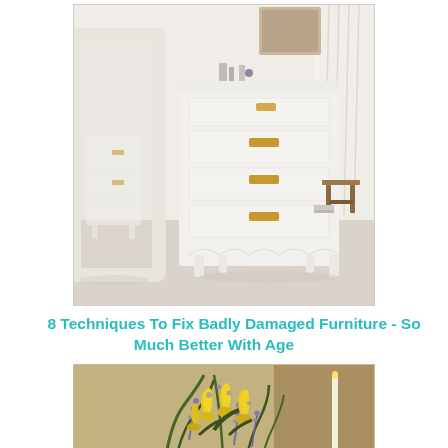[Figure (photo): White painted French provincial dresser with multiple drawers and brass handles, photographed in a bright bedroom with white curtains and carpet. A mirror frame is visible on the left side.]
8 Techniques To Fix Badly Damaged Furniture - So Much Better With Age
[Figure (photo): Flower arrangement with yellow flowers (possibly sunflowers or tulips) and purple/green foliage in a bouquet, photographed against a warm tan/beige background.]